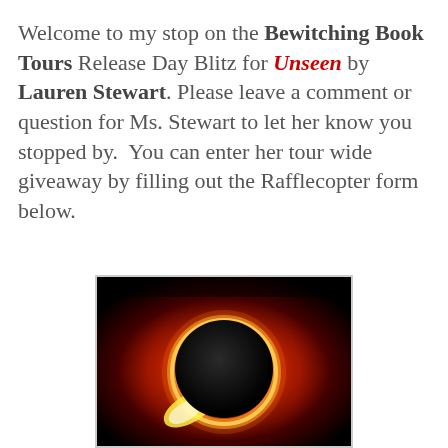Welcome to my stop on the Bewitching Book Tours Release Day Blitz for Unseen by Lauren Stewart. Please leave a comment or question for Ms. Stewart to let her know you stopped by. You can enter her tour wide giveaway by filling out the Rafflecopter form below.
[Figure (photo): A dramatic photo of a solar eclipse showing a dark moon silhouetted against a glowing corona with deep red and orange hues radiating outward against a black sky.]